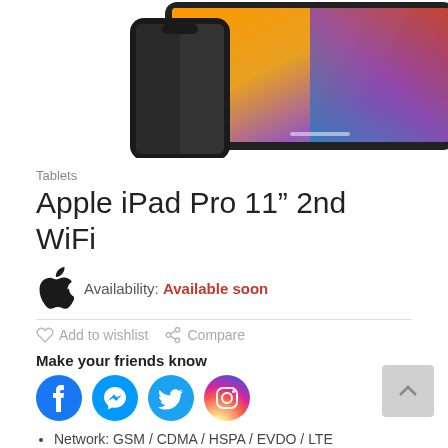[Figure (photo): Apple iPad and iPhone devices shown partially at the top of the page, with colorful wallpaper visible on screen]
Tablets
Apple iPad Pro 11” 2nd WiFi
Availability: Available soon
Add to wishlist  Compare
Make your friends know
[Figure (logo): Social media icons: Facebook, Messenger, Twitter, Instagram]
Network: GSM / CDMA / HSPA / EVDO / LTE
Display Size: 11.0 in